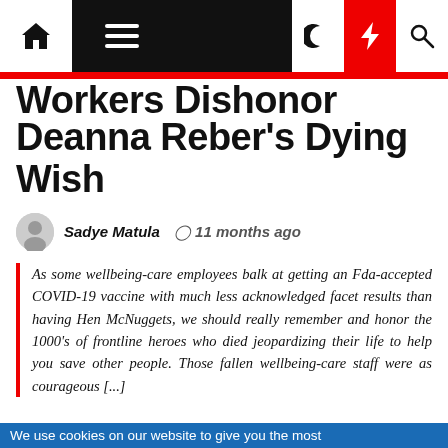Navigation bar with home, menu, dark mode, lightning, and search icons
Workers Dishonor Raises Deanna Reber's Dying Wish
Sadye Matula  11 months ago
As some wellbeing-care employees balk at getting an Fda-accepted COVID-19 vaccine with much less acknowledged facet results than having Hen McNuggets, we should really remember and honor the 1000's of frontline heroes who died jeopardizing their life to help you save other people. Those fallen wellbeing-care staff were as courageous [...]
We use cookies on our website to give you the most